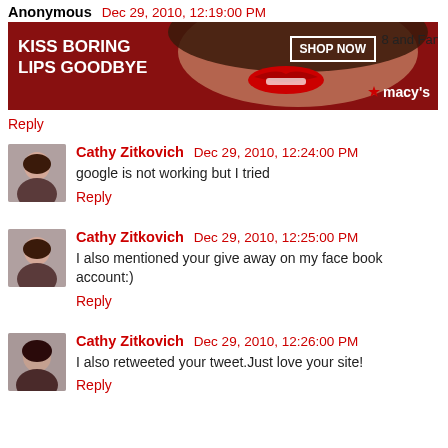Anonymous Dec 29, 2010, 12:19:00 PM
[Figure (photo): Macy's advertisement banner: woman with red lips, text 'KISS BORING LIPS GOODBYE', 'SHOP NOW', 'macy's']
Reply
Cathy Zitkovich Dec 29, 2010, 12:24:00 PM
google is not working but I tried
Reply
Cathy Zitkovich Dec 29, 2010, 12:25:00 PM
I also mentioned your give away on my face book account:)
Reply
Cathy Zitkovich Dec 29, 2010, 12:26:00 PM
I also retweeted your tweet.Just love your site!
Reply